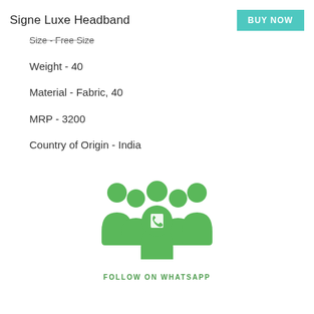Signe Luxe Headband
BUY NOW
Size - Free Size
Weight - 40
Material - Fabric, 40
MRP - 3200
Country of Origin - India
[Figure (illustration): Green WhatsApp community group icon showing multiple people figures grouped together with a WhatsApp phone icon in the center]
FOLLOW ON WHATSAPP